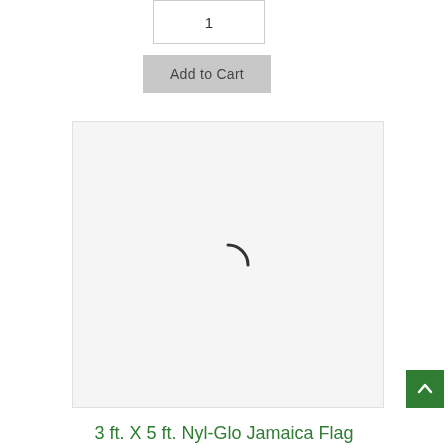1
Add to Cart
[Figure (other): Loading spinner / image placeholder area with a circular loading indicator in the center]
[Figure (other): Scroll to top button - green square with white upward chevron arrow]
3 ft. X 5 ft. Nyl-Glo Jamaica Flag